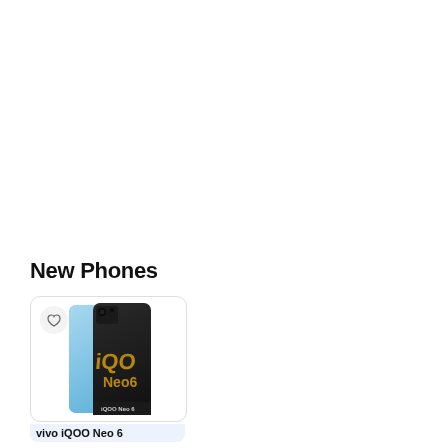New Phones
[Figure (photo): Product card showing vivo iQOO Neo 6 smartphone with blue and black color scheme and golden iQOO branding, with a heart/wishlist icon button in top-left corner]
vivo iQOO Neo 6